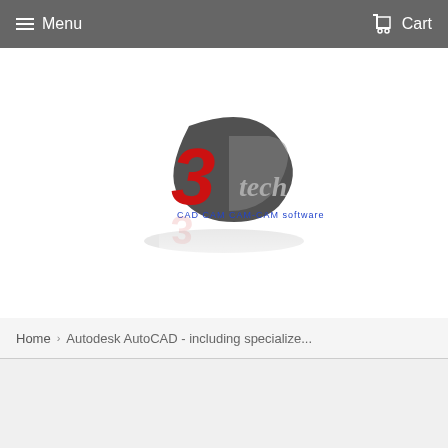Menu   Cart
[Figure (logo): 3D tech company logo with large red '3', dark gray '3D' swirl, and metallic 'tech' text with blue underline text, reflection below]
Home › Autodesk AutoCAD - including specialize...